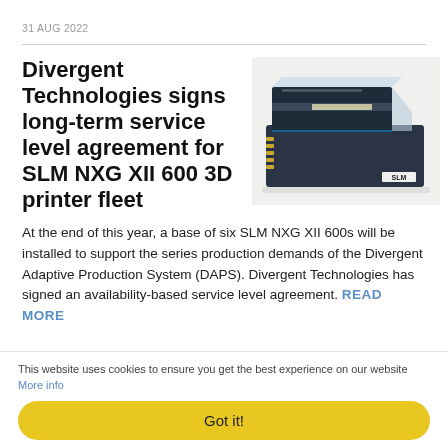31 AUG 2022
Divergent Technologies signs long-term service level agreement for SLM NXG XII 600 3D printer fleet
[Figure (photo): Photo of SLM NXG XII 600 3D printer, a large dark blue industrial machine with SLM branding visible]
At the end of this year, a base of six SLM NXG XII 600s will be installed to support the series production demands of the Divergent Adaptive Production System (DAPS). Divergent Technologies has signed an availability-based service level agreement. READ MORE
This website uses cookies to ensure you get the best experience on our website More info
Got it!